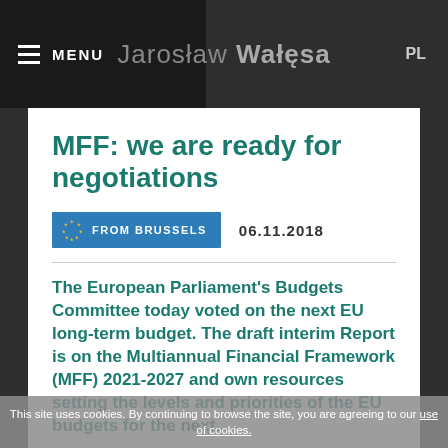MENU   Jarosław Wałęsa   PL
MFF: we are ready for negotiations
FROM BRUSSELS   06.11.2018
The European Parliament's Budgets Committee today voted on the next EU long-term budget. The draft interim Report is on the Multiannual Financial Framework (MFF) 2021-2027 and own resources setting the levels and priorities of the EU budgets for the next...
This site uses cookies. By continuing to browse the site, you are agreeing to our use of cookies.